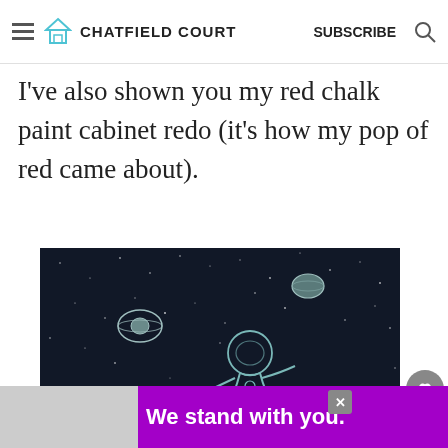≡  CHATFIELD COURT   SUBSCRIBE  🔍
I've also shown you my red chalk paint cabinet redo (it's how my pop of red came about).
[Figure (illustration): Dark space illustration showing an astronaut floating in space with Saturn and another planet visible, drawn in a sketch/line art style on a dark navy background with stars.]
We stand with you.